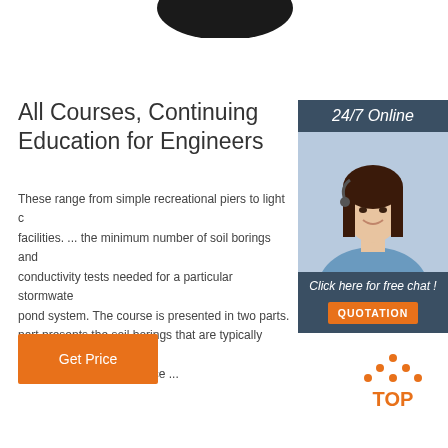[Figure (photo): Dark rounded object partially visible at top center of page]
All Courses, Continuing Education for Engineers
These range from simple recreational piers to light commercial facilities. ... the minimum number of soil borings and conductivity tests needed for a particular stormwater pond system. The course is presented in two parts. part presents the soil borings that are typically used characterize the subsurface ...
[Figure (photo): Customer service agent woman wearing headset, smiling, with 24/7 Online header, Click here for free chat text, and QUOTATION orange button on dark blue sidebar]
Get Price
[Figure (logo): TOP logo with orange dots arranged in triangle shape above orange TOP text]